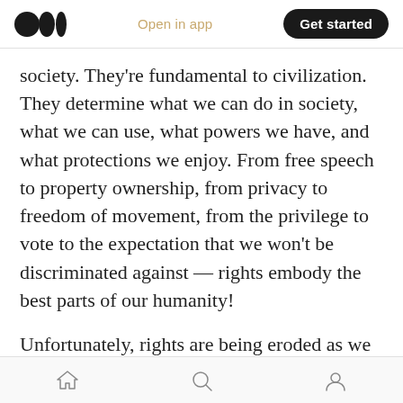Medium logo | Open in app | Get started
society. They're fundamental to civilization. They determine what we can do in society, what we can use, what powers we have, and what protections we enjoy. From free speech to property ownership, from privacy to freedom of movement, from the privilege to vote to the expectation that we won't be discriminated against — rights embody the best parts of our humanity!
Unfortunately, rights are being eroded as we transform from a physical society to a digital
Home | Search | Profile